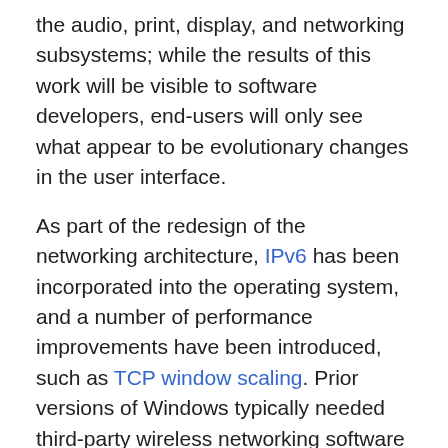the audio, print, display, and networking subsystems; while the results of this work will be visible to software developers, end-users will only see what appear to be evolutionary changes in the user interface.
As part of the redesign of the networking architecture, IPv6 has been incorporated into the operating system, and a number of performance improvements have been introduced, such as TCP window scaling. Prior versions of Windows typically needed third-party wireless networking software to work properly; this is no longer the case with Windows Vista, as it includes comprehensive wireless networking support.
For graphics, Windows Vista introduces a new as well as major revisions to Direct3D. The new display driver model facilitates the new Desktop Window Manager, which provides the tearing-free desktop and special effects that